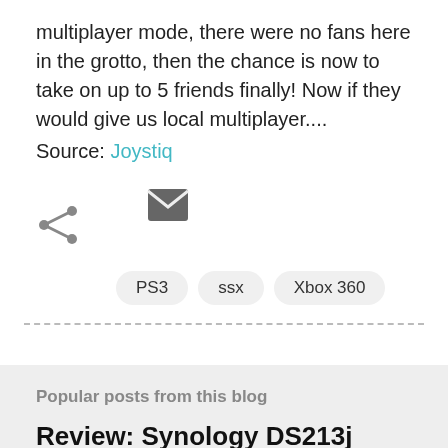multiplayer mode, there were no fans here in the grotto, then the chance is now to take on up to 5 friends finally! Now if they would give us local multiplayer....
Source: Joystiq
[Figure (illustration): Share icon (less-than arrow shape) and email/envelope icon shown as social sharing buttons]
PS3
ssx
Xbox 360
Popular posts from this blog
Review: Synology DS213j NAS!
By --Victor - June 16, 2013